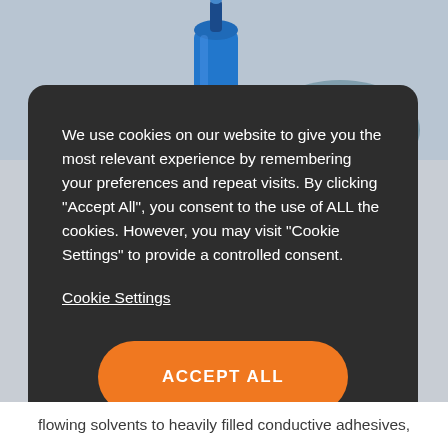[Figure (photo): Background photo showing a blue dispensing or injection tool/device against a light grey background, partially visible behind a dark modal overlay]
We use cookies on our website to give you the most relevant experience by remembering your preferences and repeat visits. By clicking “Accept All”, you consent to the use of ALL the cookies. However, you may visit “Cookie Settings” to provide a controlled consent.
Cookie Settings
ACCEPT ALL
flowing solvents to heavily filled conductive adhesives,